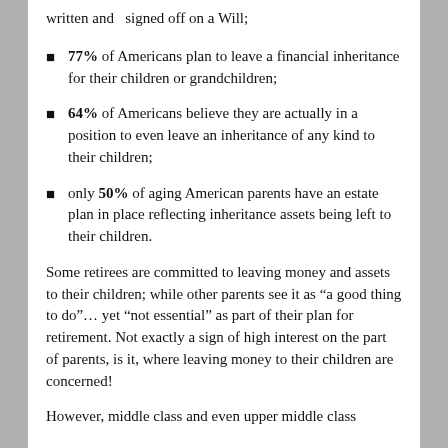written and signed off on a Will;
77% of Americans plan to leave a financial inheritance for their children or grandchildren;
64% of Americans believe they are actually in a position to even leave an inheritance of any kind to their children;
only 50% of aging American parents have an estate plan in place reflecting inheritance assets being left to their children.
Some retirees are committed to leaving money and assets to their children; while other parents see it as “a good thing to do”… yet “not essential” as part of their plan for retirement. Not exactly a sign of high interest on the part of parents, is it, where leaving money to their children are concerned!
However, middle class and even upper middle class